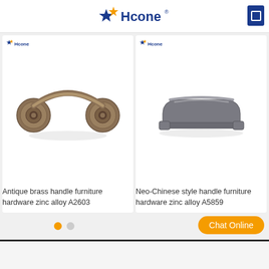Hcone
[Figure (photo): Antique brass drop bail pull handle with two circular backplates, bronze/antique finish, arc-shaped bail]
Antique brass handle furniture hardware zinc alloy A2603
[Figure (photo): Neo-Chinese style bar pull handle, flat rectangular arch shape, gunmetal/dark silver finish]
Neo-Chinese style handle furniture hardware zinc alloy A5859